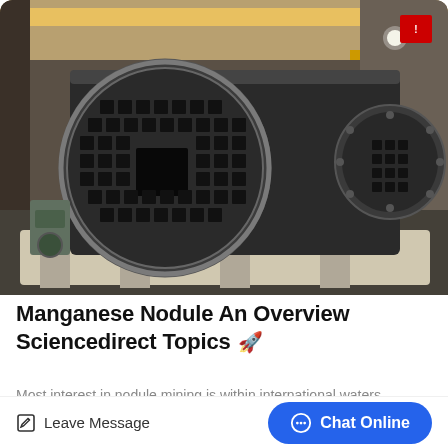[Figure (photo): Industrial warehouse interior showing large black cylindrical drum/rotary equipment with a square mesh/grate face panel on the near end, lying horizontally on a flatbed trailer or pallet. A second similar cylinder is partially visible behind it. Overhead crane and steel structure visible. Concrete floor.]
Manganese Nodule An Overview Sciencedirect Topics
Most interest in nodule mining is within international waters
Leave Message
Chat Online